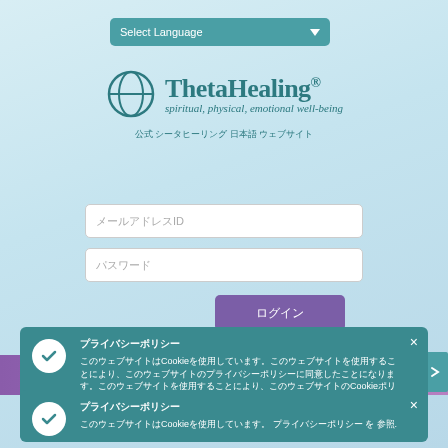[Figure (screenshot): ThetaHealing website login page screenshot with language selector, logo, login form, cookie notification banners]
Select Language
ThetaHealing®
spiritual, physical, emotional well-being
公式 シータヒーリング 日本語 ウェブサイト
メールアドレスID
パスワード
ログイン
プライバシーポリシー
このウェブサイトはCookieを使用しています。このウェブサイトを使用することにより、Cookieポリシーに同意したことになります。 CookieとはCookieの使用方法についての詳細はこちらをご覧ください
プライバシーポリシー
このウェブサイトはCookieを使用しています。 プライバシーポリシー を 参照。